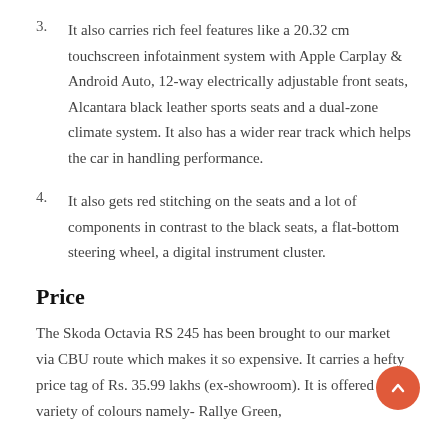3. It also carries rich feel features like a 20.32 cm touchscreen infotainment system with Apple Carplay & Android Auto, 12-way electrically adjustable front seats, Alcantara black leather sports seats and a dual-zone climate system. It also has a wider rear track which helps the car in handling performance.
4. It also gets red stitching on the seats and a lot of components in contrast to the black seats, a flat-bottom steering wheel, a digital instrument cluster.
Price
The Skoda Octavia RS 245 has been brought to our market via CBU route which makes it so expensive. It carries a hefty price tag of Rs. 35.99 lakhs (ex-showroom). It is offered in a variety of colours namely- Rallye Green,